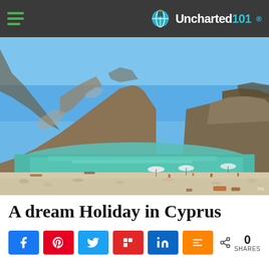Uncharted101
[Figure (photo): A secluded pebble beach cove in Cyprus with turquoise water, large rocky cliffs in the background, and beachgoers with umbrellas on a sunny day.]
A dream Holiday in Cyprus
Social share bar: Facebook, Pinterest, Twitter, Flipboard, LinkedIn, Mix — 0 SHARES